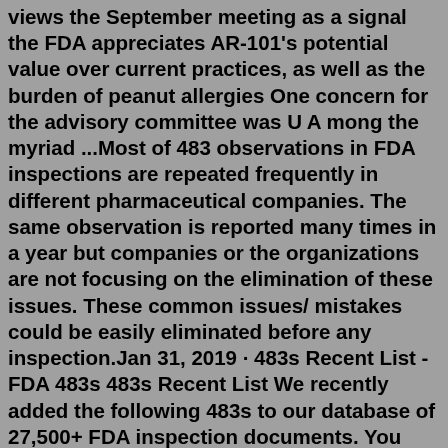views the September meeting as a signal the FDA appreciates AR-101's potential value over current practices, as well as the burden of peanut allergies One concern for the advisory committee was U A mong the myriad ...Most of 483 observations in FDA inspections are repeated frequently in different pharmaceutical companies. The same observation is reported many times in a year but companies or the organizations are not focusing on the elimination of these issues. These common issues/ mistakes could be easily eliminated before any inspection.Jan 31, 2019 · 483s Recent List - FDA 483s 483s Recent List We recently added the following 483s to our database of 27,500+ FDA inspection documents. You can obtain 483s, EIRs, InspectorProfiles, and more at the FDAzilla store. Can't find the 483 you're looking for? Here's a FREE company report instead. July June May April ChemSpider; Content; Description: A chemical structure database providing fast access to over 100 million structures, properties and associated information. ChemSpider is a database of